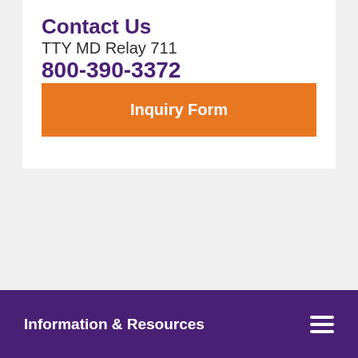Contact Us
TTY MD Relay 711
800-390-3372
Inquiry Form
Information & Resources